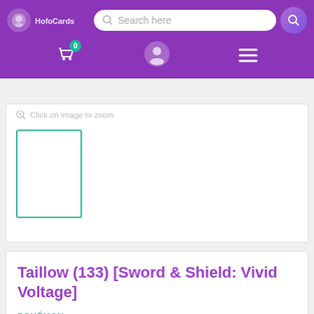Search here
[Figure (screenshot): E-commerce website header with purple background, logo, search bar, cart icon with badge '0', user icon, and hamburger menu]
Click on image to zoom
[Figure (other): Thumbnail placeholder box with teal/green border for product card image]
Taillow (133) [Sword & Shield: Vivid Voltage]
POKÉMON